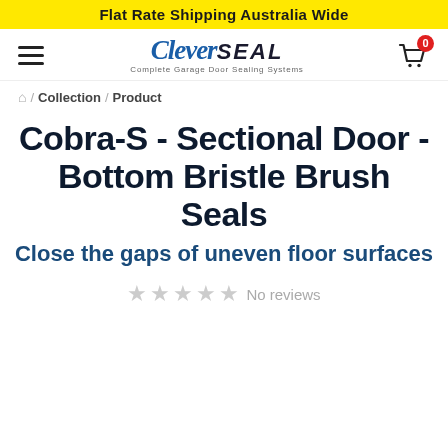Flat Rate Shipping Australia Wide
[Figure (logo): Clever SEAL Complete Garage Door Sealing Systems logo with hamburger menu and shopping cart icon]
Home / Collection / Product
Cobra-S - Sectional Door - Bottom Bristle Brush Seals
Close the gaps of uneven floor surfaces
No reviews